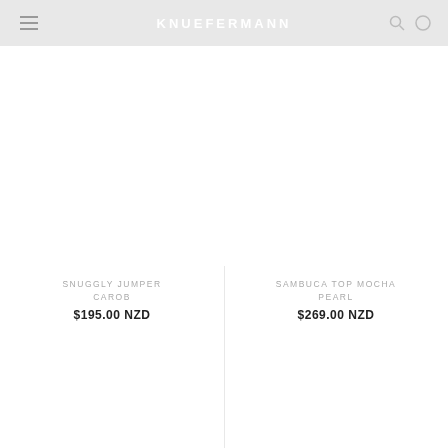KNUEFERMANN
SNUGGLY JUMPER CAROB
$195.00 NZD
SAMBUCA TOP MOCHA PEARL
$269.00 NZD